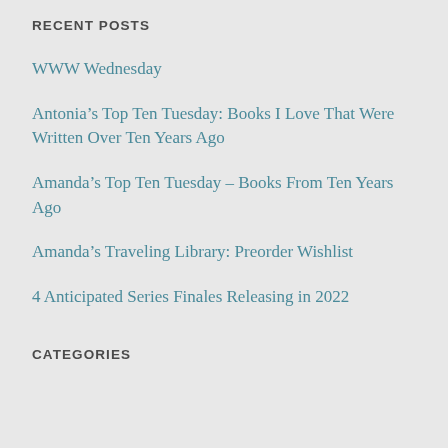RECENT POSTS
WWW Wednesday
Antonia’s Top Ten Tuesday: Books I Love That Were Written Over Ten Years Ago
Amanda’s Top Ten Tuesday – Books From Ten Years Ago
Amanda’s Traveling Library: Preorder Wishlist
4 Anticipated Series Finales Releasing in 2022
CATEGORIES